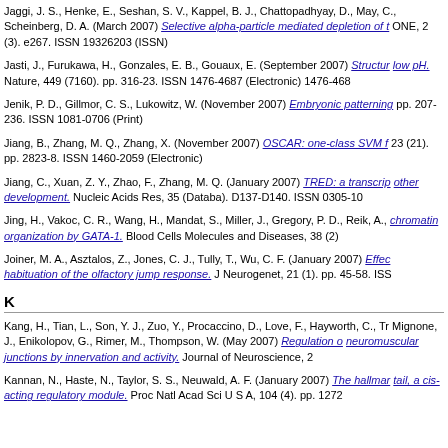Jaggi, J. S., Henke, E., Seshan, S. V., Kappel, B. J., Chattopadhyay, D., May, C., Scheinberg, D. A. (March 2007) Selective alpha-particle mediated depletion of t... PLOS ONE, 2 (3). e267. ISSN 19326203 (ISSN)
Jasti, J., Furukawa, H., Gonzales, E. B., Gouaux, E. (September 2007) Structur... low pH. Nature, 449 (7160). pp. 316-23. ISSN 1476-4687 (Electronic) 1476-468...
Jenik, P. D., Gillmor, C. S., Lukowitz, W. (November 2007) Embryonic patterning... pp. 207-236. ISSN 1081-0706 (Print)
Jiang, B., Zhang, M. Q., Zhang, X. (November 2007) OSCAR: one-class SVM f... 23 (21). pp. 2823-8. ISSN 1460-2059 (Electronic)
Jiang, C., Xuan, Z. Y., Zhao, F., Zhang, M. Q. (January 2007) TRED: a transcrip... other development. Nucleic Acids Res, 35 (Databa). D137-D140. ISSN 0305-10...
Jing, H., Vakoc, C. R., Wang, H., Mandat, S., Miller, J., Gregory, P. D., Reik, A., ... chromatin organization by GATA-1. Blood Cells Molecules and Diseases, 38 (2)...
Joiner, M. A., Asztalos, Z., Jones, C. J., Tully, T., Wu, C. F. (January 2007) Effec... habituation of the olfactory jump response. J Neurogenet, 21 (1). pp. 45-58. ISS...
K
Kang, H., Tian, L., Son, Y. J., Zuo, Y., Procaccino, D., Love, F., Hayworth, C., Tr... Mignone, J., Enikolopov, G., Rimer, M., Thompson, W. (May 2007) Regulation o... neuromuscular junctions by innervation and activity. Journal of Neuroscience, 2...
Kannan, N., Haste, N., Taylor, S. S., Neuwald, A. F. (January 2007) The hallmar... tail, a cis-acting regulatory module. Proc Natl Acad Sci U S A, 104 (4). pp. 1272...